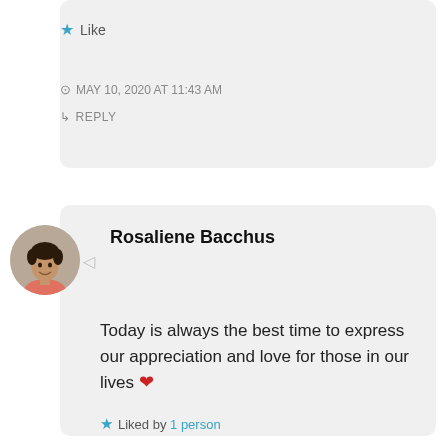★ Like
MAY 10, 2020 AT 11:43 AM
↳ REPLY
Rosaliene Bacchus
Today is always the best time to express our appreciation and love for those in our lives ❤
★ Liked by 1 person